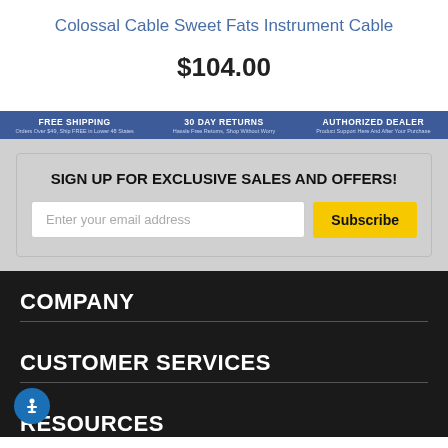Colossal Cable Sweet Fats Instrument Cable
$104.00
[Figure (infographic): Blue banner with three sections: FREE SHIPPING (Orders Over $49, Ship FREE in Lower 48 States), 30 DAY RETURNS (Hassle Free Returns, Shop Without Worry), AUTHORIZED DEALER (Product Support Here And After Your Purchase)]
SIGN UP FOR EXCLUSIVE SALES AND OFFERS!
Enter your email address
Subscribe
COMPANY
CUSTOMER SERVICES
RESOURCES